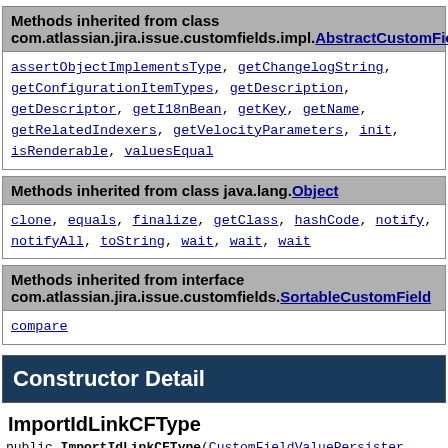| Methods inherited from class com.atlassian.jira.issue.customfields.impl.AbstractCustomField |
| --- |
| assertObjectImplementsType, getChangelogString, getConfigurationItemTypes, getDescription, getDescriptor, getI18nBean, getKey, getName, getRelatedIndexers, getVelocityParameters, init, isRenderable, valuesEqual |
| Methods inherited from class java.lang.Object |
| --- |
| clone, equals, finalize, getClass, hashCode, notify, notifyAll, toString, wait, wait, wait |
| Methods inherited from interface com.atlassian.jira.issue.customfields.SortableCustomField |
| --- |
| compare |
Constructor Detail
ImportIdLinkCFType
public ImportIdLinkCFType(CustomFieldValuePersister custo